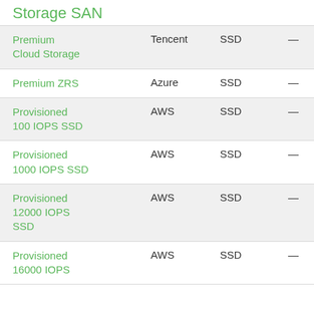Storage SAN
|  |  |  |  |
| --- | --- | --- | --- |
| Premium Cloud Storage | Tencent | SSD | — |
| Premium ZRS | Azure | SSD | — |
| Provisioned 100 IOPS SSD | AWS | SSD | — |
| Provisioned 1000 IOPS SSD | AWS | SSD | — |
| Provisioned 12000 IOPS SSD | AWS | SSD | — |
| Provisioned 16000 IOPS | AWS | SSD | — |